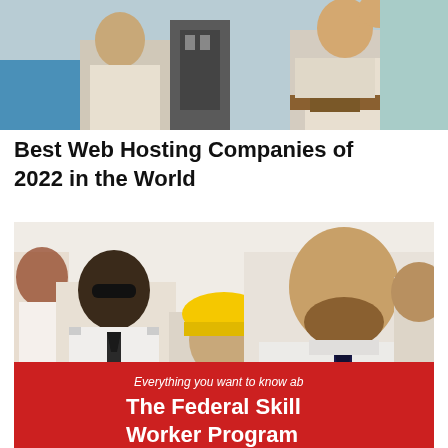[Figure (photo): Top portion of a photo showing people in a business/office setting, with hands visible and clothing suggesting professional attire. Partially cropped at the top of the page.]
Best Web Hosting Companies of 2022 in the World
[Figure (photo): Photo of a diverse group of workers smiling. In the foreground is a bearded man in a white shirt and dark tie. To his left is a Black man in a white shirt and dark tie wearing sunglasses. Behind them is a person in a yellow hard hat. On the far left edge is a woman with reddish hair. A red banner at the bottom reads 'Everything you want to know ab' and 'The Federal Skill' and 'Worker Program'.]